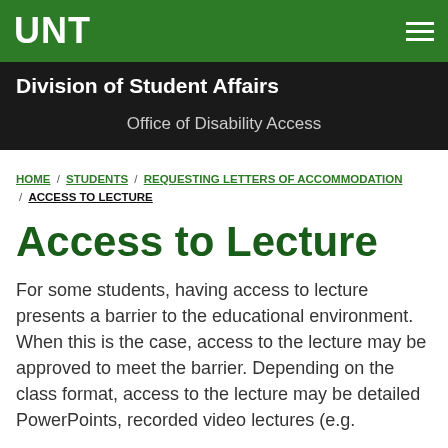UNT
Division of Student Affairs
Office of Disability Access
HOME / STUDENTS / REQUESTING LETTERS OF ACCOMMODATION / ACCESS TO LECTURE
Access to Lecture
For some students, having access to lecture presents a barrier to the educational environment. When this is the case, access to the lecture may be approved to meet the barrier. Depending on the class format, access to the lecture may be detailed PowerPoints, recorded video lectures (e.g.